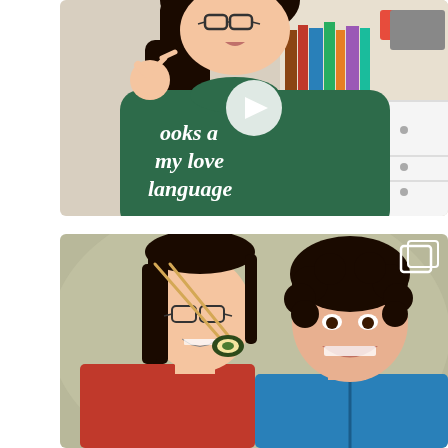[Figure (photo): A young Asian woman wearing a dark green sweatshirt that reads 'books are my love language', making an OK hand gesture, with bookshelves in the background. A white play button triangle is overlaid in the center of the image, indicating a video.]
[Figure (photo): Two Asian women smiling and laughing together. The younger woman on the left wears glasses and a red top, holding a sushi roll with chopsticks. The older woman on the right has curly dark hair and wears a blue zip-up jacket. A carousel/multiple images icon appears in the top-right corner.]